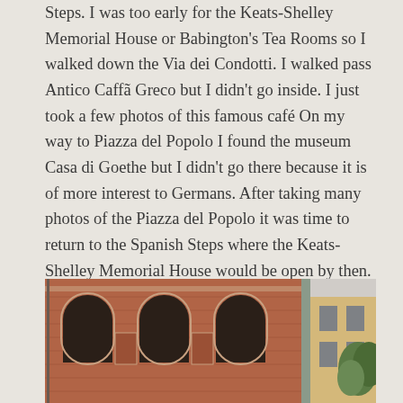Steps. I was too early for the Keats-Shelley Memorial House or Babington's Tea Rooms so I walked down the Via dei Condotti. I walked pass Antico Caffã Greco but I didn't go inside. I just took a few photos of this famous café On my way to Piazza del Popolo I found the museum Casa di Goethe but I didn't go there because it is of more interest to Germans. After taking many photos of the Piazza del Popolo it was time to return to the Spanish Steps where the Keats-Shelley Memorial House would be open by then. I encountered a large group of teenagers entering the museum so I decided to wait until later and went over to Babington's Tea Rooms instead.
[Figure (photo): Exterior view of a historic brick building with arched windows, likely in Rome. On the right edge is another building with foliage visible.]